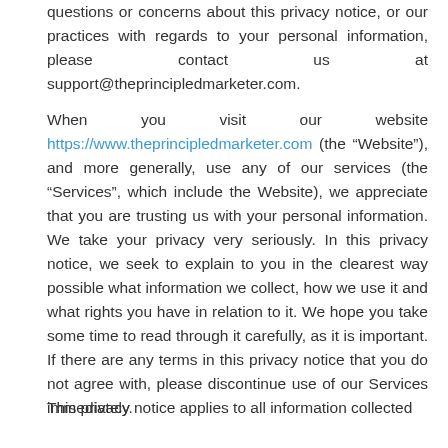questions or concerns about this privacy notice, or our practices with regards to your personal information, please contact us at support@theprincipledmarketer.com.
When you visit our website https://www.theprincipledmarketer.com (the “Website”), and more generally, use any of our services (the “Services”, which include the Website), we appreciate that you are trusting us with your personal information. We take your privacy very seriously. In this privacy notice, we seek to explain to you in the clearest way possible what information we collect, how we use it and what rights you have in relation to it. We hope you take some time to read through it carefully, as it is important. If there are any terms in this privacy notice that you do not agree with, please discontinue use of our Services immediately.
This privacy notice applies to all information collected